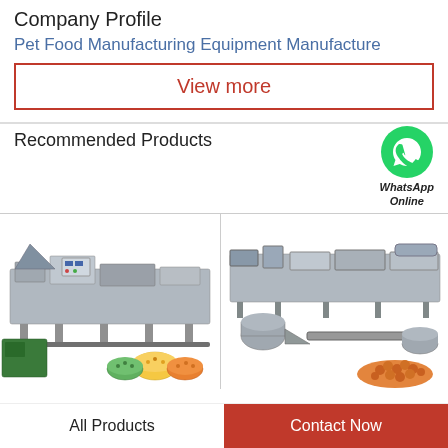Company Profile
Pet Food Manufacturing Equipment Manufacture
View more
Recommended Products
[Figure (photo): Pet food manufacturing equipment and pet food products — industrial extrusion machines and bowls of colorful pet food]
[Figure (photo): WhatsApp Online icon with green logo]
[Figure (photo): Pet food manufacturing equipment line with kibble output]
All Products
Contact Now